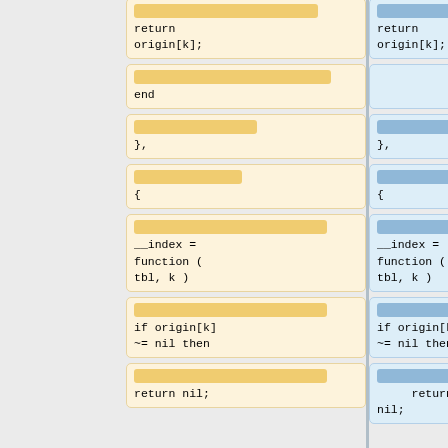[Figure (screenshot): Code diff view showing two side-by-side columns (left: removed lines in yellow/orange, right: added lines in blue). The diff shows Lua code with blocks: 'return origin[k];', 'end', '},', '{', '__index = function ( tbl, k )', 'if origin[k] ~= nil then', 'return nil;'. Each block has a '-' sign on the left column and '+' sign on the right column.]